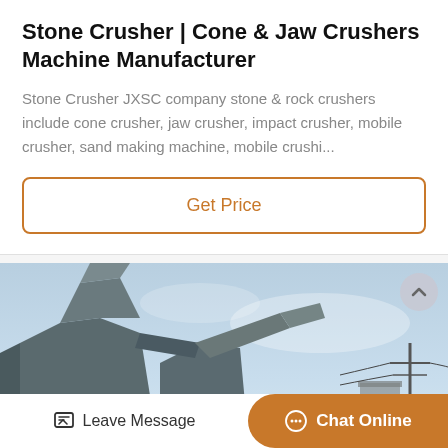Stone Crusher | Cone & Jaw Crushers Machine Manufacturer
Stone Crusher JXSC company stone & rock crushers include cone crusher, jaw crusher, impact crusher, mobile crusher, sand making machine, mobile crushi...
Get Price
[Figure (photo): Industrial stone crusher machine photographed from below against a light blue sky, showing large metal components and structural frames. A utility pole with power lines is visible in the background.]
Leave Message
Chat Online